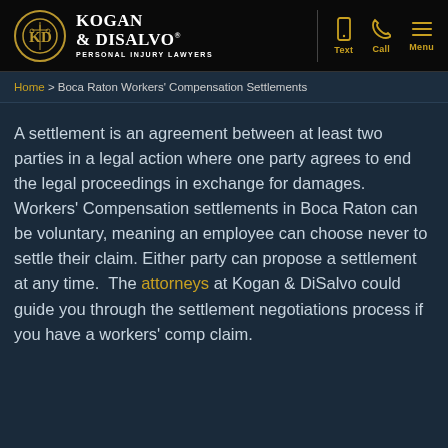[Figure (logo): Kogan & DiSalvo Personal Injury Lawyers logo with circular KD emblem on black background with gold navigation icons for Text, Call, and Menu]
Home > Boca Raton Workers' Compensation Settlements
A settlement is an agreement between at least two parties in a legal action where one party agrees to end the legal proceedings in exchange for damages. Workers' Compensation settlements in Boca Raton can be voluntary, meaning an employee can choose never to settle their claim. Either party can propose a settlement at any time. The attorneys at Kogan & DiSalvo could guide you through the settlement negotiations process if you have a workers' comp claim.